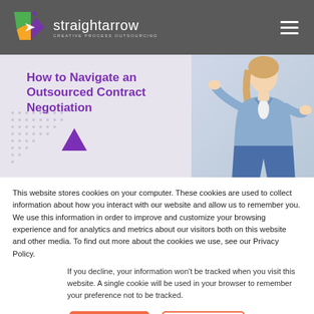straightarrow — CREATIVE PROCESS OUTSOURCING
[Figure (illustration): Banner image showing a woman in a denim shirt gesturing, with decorative geometric shapes (triangle, hexagon, dotted pattern) and text 'How to Navigate an Outsourced Contract Negotiation' in purple on a light background.]
How to Navigate an Outsourced Contract Negotiation
This website stores cookies on your computer. These cookies are used to collect information about how you interact with our website and allow us to remember you. We use this information in order to improve and customize your browsing experience and for analytics and metrics about our visitors both on this website and other media. To find out more about the cookies we use, see our Privacy Policy.
If you decline, your information won't be tracked when you visit this website. A single cookie will be used in your browser to remember your preference not to be tracked.